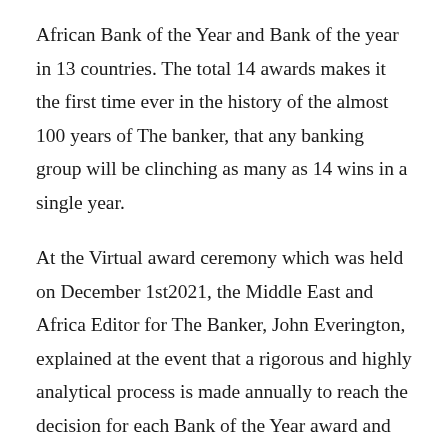African Bank of the Year and Bank of the year in 13 countries.  The total 14 awards makes it the first time ever in the history of the almost 100 years of The banker, that any banking group will be clinching as many as 14 wins in a single year.
At the Virtual award ceremony which was held on December 1st2021, the Middle East and Africa Editor for The Banker, John Everington, explained at the event that a rigorous and highly analytical process is made annually to reach the decision for each Bank of the Year award and the institution's reputation for independence, authority and integrity is thoroughly applied to each submission.
“While several African banks impressed the judges this year, there was no doubt as to the worthiest recipient of the Bank